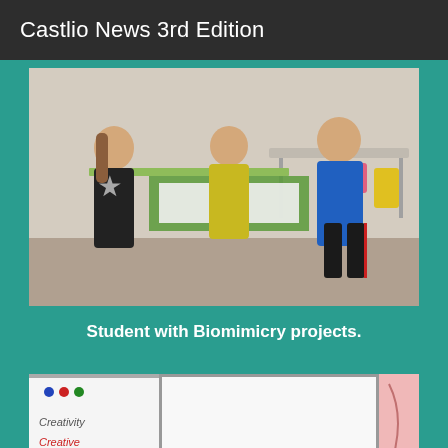Castlio News 3rd Edition
[Figure (photo): Three students standing in a classroom next to a table with Biomimicry project materials including a green base and papers.]
Student with Biomimicry projects.
[Figure (photo): Classroom scene with whiteboards; left whiteboard has text 'Creativity Creative' written in marker; center shows a large whiteboard; right shows a pink door/wall.]